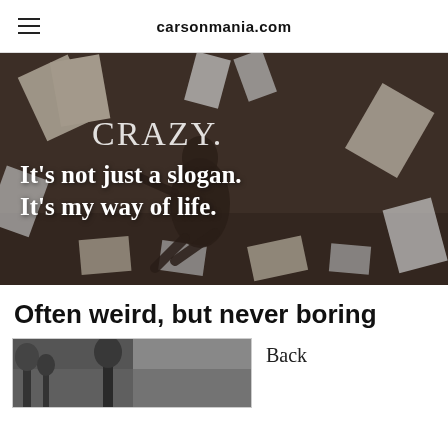carsonmania.com
[Figure (photo): A person floating/jumping in a dark room with papers flying around, overlaid with white serif text reading: CRAZY. It's not just a slogan. It's my way of life.]
Often weird, but never boring
[Figure (photo): A small black and white thumbnail photo of an outdoor scene]
Back